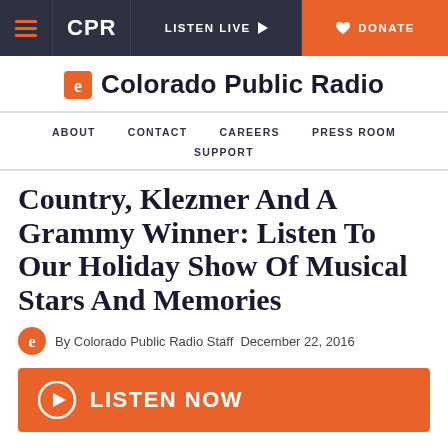CPR | LISTEN LIVE | DONATE
Colorado Public Radio
ABOUT  CONTACT  CAREERS  PRESS ROOM  SUPPORT
Country, Klezmer And A Grammy Winner: Listen To Our Holiday Show Of Musical Stars And Memories
By Colorado Public Radio Staff  December 22, 2016
LISTEN NOW